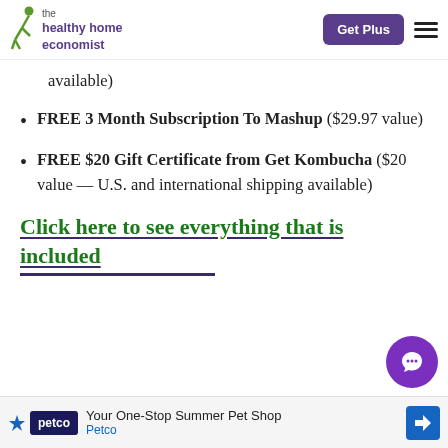the healthy home economist | Get Plus
available)
FREE 3 Month Subscription To Mashup ($29.97 value)
FREE $20 Gift Certificate from Get Kombucha ($20 value — U.S. and international shipping available)
Click here to see everything that is included